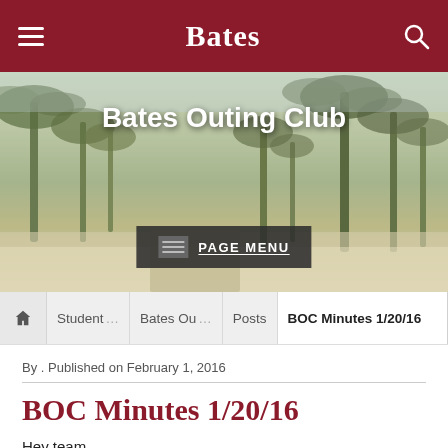Bates
[Figure (photo): Hero banner showing Bates Outing Club with outdoor scene (palm trees, desert/winter landscape) as background. Contains title 'Bates Outing Club' and a PAGE MENU button.]
Student | Bates Ou | Posts | BOC Minutes 1/20/16
By . Published on February 1, 2016
BOC Minutes 1/20/16
Hey team,
https://www.youtube.com/watch?v=A9uyMjzmT3k